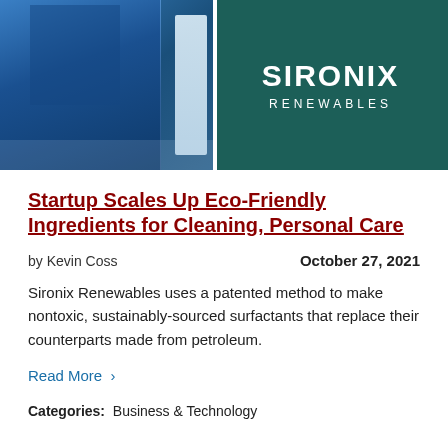[Figure (photo): Photo showing a person in blue clothing on the left side and a dark teal banner/sign on the right displaying 'SIRONIX RENEWABLES' in white letters.]
Startup Scales Up Eco-Friendly Ingredients for Cleaning, Personal Care
by Kevin Coss    October 27, 2021
Sironix Renewables uses a patented method to make nontoxic, sustainably-sourced surfactants that replace their counterparts made from petroleum.
Read More ›
Categories:  Business & Technology